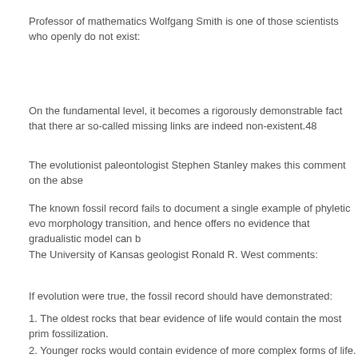Professor of mathematics Wolfgang Smith is one of those scientists who openly do not exist:
On the fundamental level, it becomes a rigorously demonstrable fact that there are so-called missing links are indeed non-existent.48
The evolutionist paleontologist Stephen Stanley makes this comment on the abse
The known fossil record fails to document a single example of phyletic evo morphology transition, and hence offers no evidence that gradualistic model can b
The University of Kansas geologist Ronald R. West comments:
If evolution were true, the fossil record should have demonstrated:
1.  The oldest rocks that bear evidence of life would contain the most prim fossilization.
2.  Younger rocks would contain evidence of more complex forms of life.